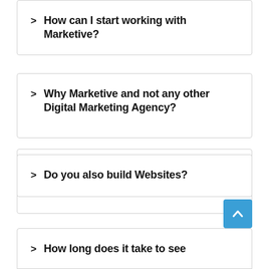> How can I start working with Marketive?
> Why Marketive and not any other Digital Marketing Agency?
> What would be the monthly expense I should be expecting?
> Do you also build Websites?
> How long does it take to see